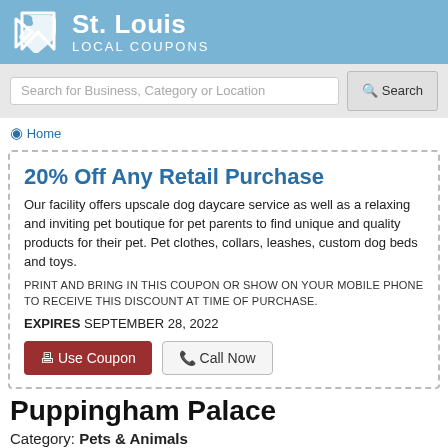St. Louis LOCAL COUPONS
Search for Business, Category or Location
Home
20% Off Any Retail Purchase
Our facility offers upscale dog daycare service as well as a relaxing and inviting pet boutique for pet parents to find unique and quality products for their pet. Pet clothes, collars, leashes, custom dog beds and toys.
PRINT AND BRING IN THIS COUPON OR SHOW ON YOUR MOBILE PHONE TO RECEIVE THIS DISCOUNT AT TIME OF PURCHASE.
EXPIRES SEPTEMBER 28, 2022
Puppingham Palace
Category: Pets & Animals
Where your dog is treated like royalty!